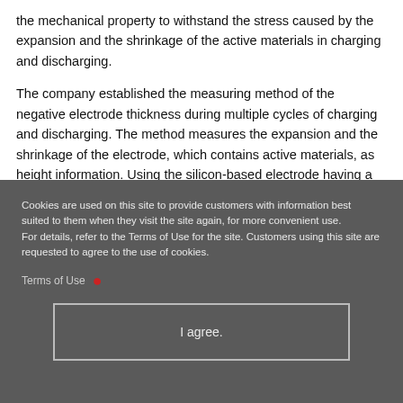the mechanical property to withstand the stress caused by the expansion and the shrinkage of the active materials in charging and discharging.
The company established the measuring method of the negative electrode thickness during multiple cycles of charging and discharging. The method measures the expansion and the shrinkage of the electrode, which contains active materials, as height information. Using the silicon-based electrode having a large
Cookies are used on this site to provide customers with information best suited to them when they visit the site again, for more convenient use.
For details, refer to the Terms of Use for the site. Customers using this site are requested to agree to the use of cookies.
Terms of Use
I agree.